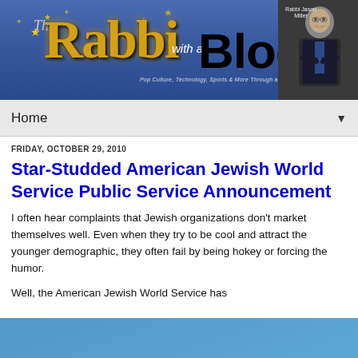[Figure (logo): The Rabbi with a Blog banner logo featuring large golden 'Rabbi' text, black 'Blog' text, star decorations on blue/purple background, with a photo of Rabbi Jason Miller on the right side. Tagline: Pop Culture, Technology, Sports & More Through a Rabbinic Perspective]
Home ▼
FRIDAY, OCTOBER 29, 2010
Star-Studded American Jewish World Service Public Service Announcement
I often hear complaints that Jewish organizations don't market themselves well. Even when they try to be cool and attract the younger demographic, they often fail by being hokey or forcing the humor.
Well, the American Jewish World Service has